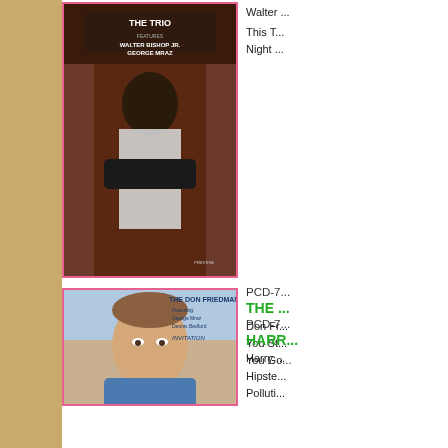[Figure (photo): Album cover for 'The Trio' featuring Walter Bishop Jr. and George Mraz, Prestige Records. Shows a black man in a white shirt with arms crossed against a dark background.]
Walter ...
This T...
Night ...
PCD-7...
[Figure (photo): Album cover for 'The Don Friedman Trio' featuring George Mraz and Dennis Bedford - 'Invitation'. Close-up portrait of a balding middle-aged man in a blue shirt.]
PCD-7...
THE ...
Don Fr...
You St...
You Go...
[Figure (photo): Album cover for Harry Franklin Gibson 'Cuttin' Capers For You'. Illustration of a man in a chef hat and glasses at a piano.]
PCD-7...
HARR...
Harry ...
Hipste...
Polluti...